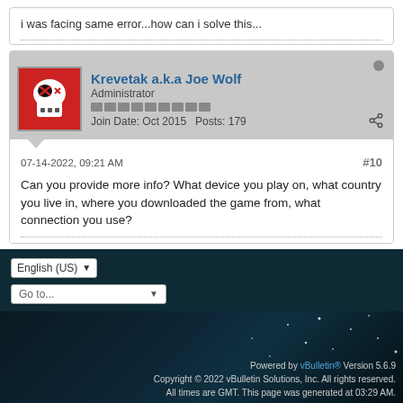i was facing same error...how can i solve this...
Krevetak a.k.a Joe Wolf
Administrator
Join Date: Oct 2015  Posts: 179
07-14-2022, 09:21 AM
#10
Can you provide more info? What device you play on, what country you live in, where you downloaded the game from, what connection you use?
English (US)
Go to...
Powered by vBulletin® Version 5.6.9
Copyright © 2022 vBulletin Solutions, Inc. All rights reserved.
All times are GMT. This page was generated at 03:29 AM.